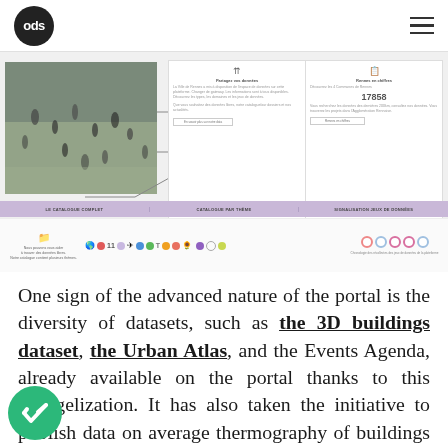ods
[Figure (screenshot): Screenshot of an open data portal showing a photo of people in a plaza on the left, with two UI cards on the right showing portal features. Below is a purple navigation bar with tabs and a filter row with category icons and a timeline.]
One sign of the advanced nature of the portal is the diversity of datasets, such as the 3D buildings dataset, the Urban Atlas, and the Events Agenda, already available on the portal thanks to this evangelization. It has also taken the initiative to publish data on average thermography of buildings in city, which serve as a good indicator of the building's insulation. Indeed, while other cities have